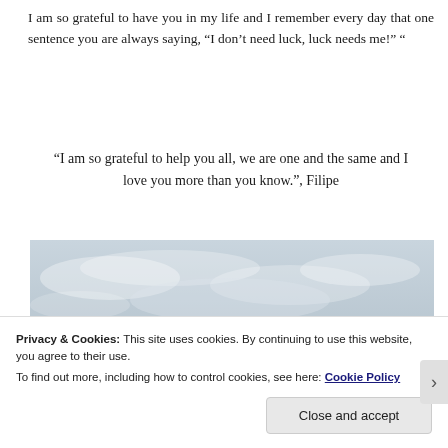I am so grateful to have you in my life and I remember every day that one sentence you are always saying, "I don't need luck, luck needs me!" "
"I am so grateful to help you all, we are one and the same and I love you more than you know.", Filipe
[Figure (photo): Photo of a bald man against a cloudy sky background]
Privacy & Cookies: This site uses cookies. By continuing to use this website, you agree to their use.
To find out more, including how to control cookies, see here: Cookie Policy